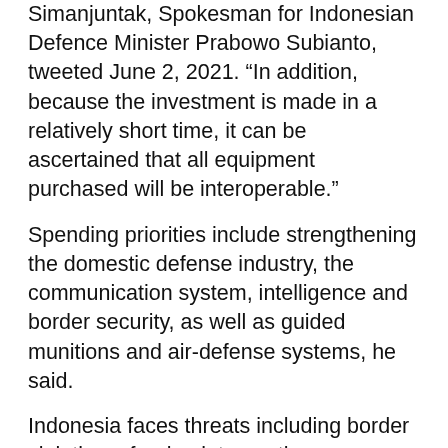Simanjuntak, Spokesman for Indonesian Defence Minister Prabowo Subianto, tweeted June 2, 2021. “In addition, because the investment is made in a relatively short time, it can be ascertained that all equipment purchased will be interoperable.”
Spending priorities include strengthening the domestic defense industry, the communication system, intelligence and border security, as well as guided munitions and air-defense systems, he said.
Indonesia faces threats including border violations, foreign intervention, separatism and terrorism, the Defence Ministry said. Nonmilitary threats include piracy and cyber espionage.
The Defence Ministry’s budget for 2021 is U.S. $9.6 billion.
Prabowo said the plans were being discussed with the National Development Planning Agency, the Finance